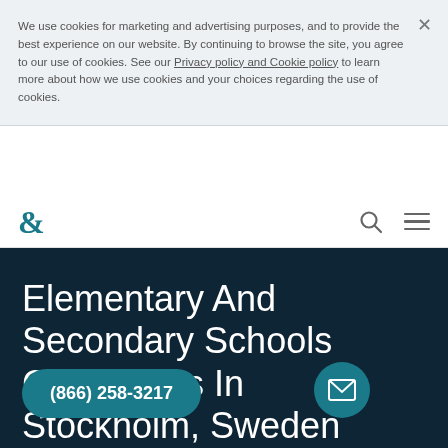We use cookies for marketing and advertising purposes, and to provide the best experience on our website. By continuing to browse the site, you agree to our use of cookies. See our Privacy policy and Cookie policy to learn more about how we use cookies and your choices regarding the use of cookies.
[Figure (logo): Ampersand logo symbol in teal color with search and hamburger menu icons on the right]
Elementary And Secondary Schools Companies In Stockholm, Sweden
(866) 258-3217